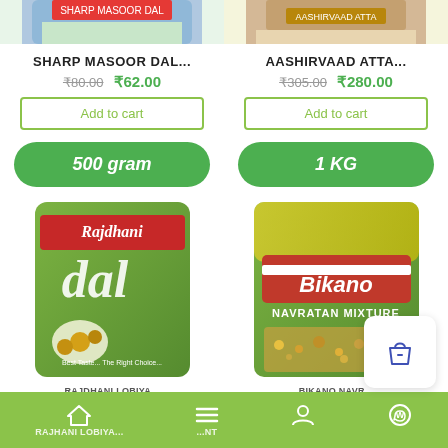[Figure (photo): Partial top image of Sharp Masoor Dal product bag]
[Figure (photo): Partial top image of Aashirvaad Atta product bag]
SHARP MASOOR DAL...
AASHIRVAAD ATTA...
₹80.00  ₹62.00
₹305.00  ₹280.00
Add to cart
Add to cart
500 gram
1 KG
[Figure (photo): Rajdhani Dal product bag - green packaging with dal grains]
[Figure (photo): Bikano Navratan Mixture product bag - green packaging]
RAJDHANI LOBIYA...
BIKANO NAVR...
Home | Menu | Profile | WhatsApp navigation bar